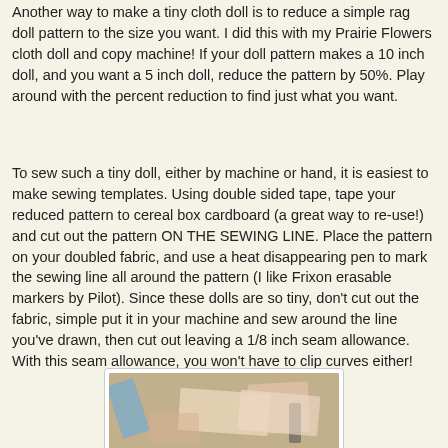Another way to make a tiny cloth doll is to reduce a simple rag doll pattern to the size you want.  I did this with my Prairie Flowers cloth doll and copy machine!  If your doll pattern makes a 10 inch doll, and you want a 5 inch doll, reduce the pattern by 50%.  Play around with the percent reduction to find just what you want.
To sew such a tiny doll, either by machine or hand, it is easiest to make sewing templates.  Using double sided tape, tape your reduced pattern to cereal box cardboard (a great way to re-use!) and cut out the pattern ON THE SEWING LINE.  Place the pattern on your doubled fabric, and use a heat disappearing pen to mark the sewing line all around the pattern (I like Frixon erasable markers by Pilot).  Since these dolls are so tiny, don't cut out the fabric, simple put it in your machine and sew around the line you've drawn, then cut out leaving a 1/8 inch seam allowance.  With this seam allowance, you won't have to clip curves either!
[Figure (photo): A photo showing sewing materials and fabric on a table, including what appears to be a blue pen/marker, fabric pieces with a doll pattern, and other sewing supplies.]